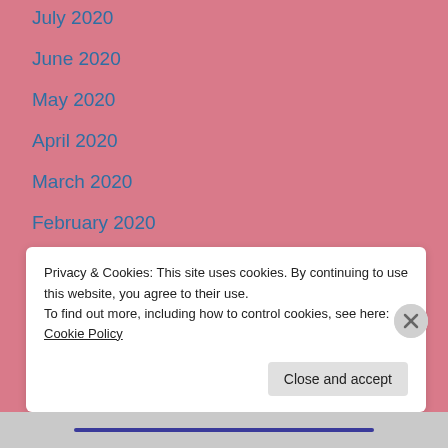July 2020
June 2020
May 2020
April 2020
March 2020
February 2020
January 2020
December 2019
November 2019
Privacy & Cookies: This site uses cookies. By continuing to use this website, you agree to their use.
To find out more, including how to control cookies, see here: Cookie Policy